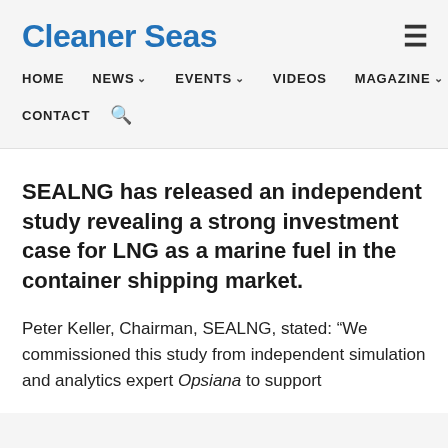Cleaner Seas
HOME  NEWS  EVENTS  VIDEOS  MAGAZINE
CONTACT
SEALNG has released an independent study revealing a strong investment case for LNG as a marine fuel in the container shipping market.
Peter Keller, Chairman, SEALNG, stated: “We commissioned this study from independent simulation and analytics expert Opsiana to support